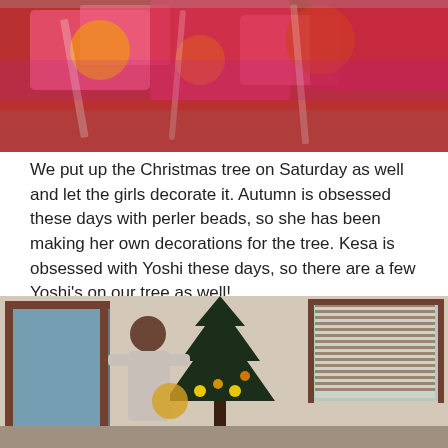[Figure (photo): Top portion of a photo showing colorful red/pink patterned fabric or wrapping paper with vibrant colors]
We put up the Christmas tree on Saturday as well and let the girls decorate it. Autumn is obsessed these days with perler beads, so she has been making her own decorations for the tree. Kesa is obsessed with Yoshi these days, so there are a few Yoshi's on our tree as well!
[Figure (photo): Indoor photo of a person decorating a Christmas tree in a living room with windows and wooden blinds in the background]